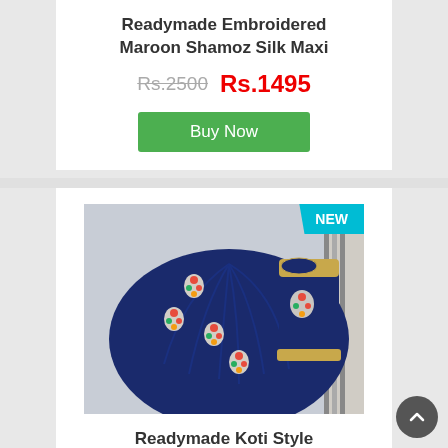Readymade Embroidered Maroon Shamoz Silk Maxi
Rs.2500  Rs.1495
Buy Now
[Figure (photo): Navy blue embroidered Shamoz Silk Maxi dress displayed on white background, with colorful floral embroidery and golden border on sleeves. NEW badge in cyan.]
Readymade Koti Style Embroidered Shamoz Silk Maxi
Rs.3000  Rs.1695